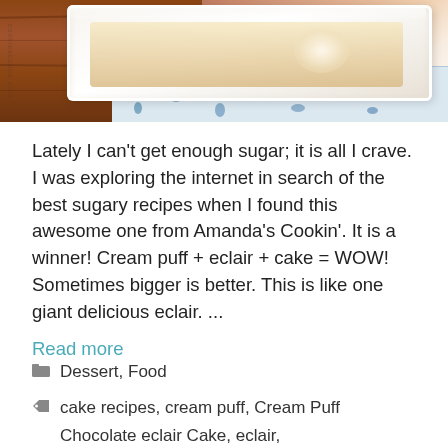[Figure (photo): Close-up photo of a white baking dish with cream puff cake inside, sitting on a blue and white floral patterned cloth on a wooden surface]
Lately I can't get enough sugar; it is all I crave. I was exploring the internet in search of the best sugary recipes when I found this awesome one from Amanda's Cookin'. It is a winner! Cream puff + eclair + cake = WOW! Sometimes bigger is better. This is like one giant delicious eclair. ...
Read more
Dessert, Food
cake recipes, cream puff, Cream Puff
Chocolate eclair Cake, eclair,